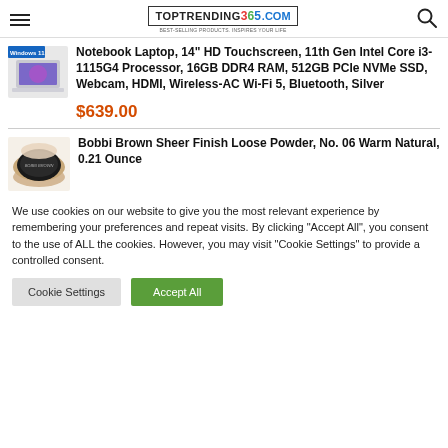TopTrending365.com
Notebook Laptop, 14" HD Touchscreen, 11th Gen Intel Core i3-1115G4 Processor, 16GB DDR4 RAM, 512GB PCIe NVMe SSD, Webcam, HDMI, Wireless-AC Wi-Fi 5, Bluetooth, Silver
$639.00
Bobbi Brown Sheer Finish Loose Powder, No. 06 Warm Natural, 0.21 Ounce
We use cookies on our website to give you the most relevant experience by remembering your preferences and repeat visits. By clicking "Accept All", you consent to the use of ALL the cookies. However, you may visit "Cookie Settings" to provide a controlled consent.
Cookie Settings | Accept All